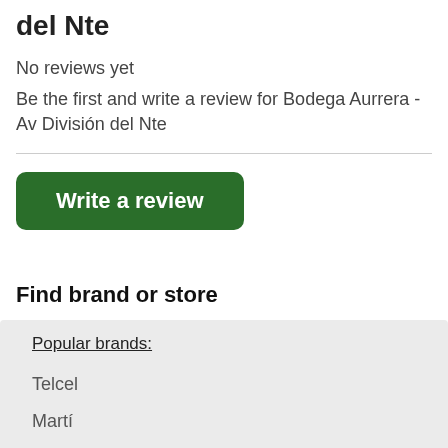del Nte
No reviews yet
Be the first and write a review for Bodega Aurrera - Av División del Nte
Write a review
Find brand or store
Popular brands:
Telcel
Martí
Iusacell
Game Planet
BBVA B...